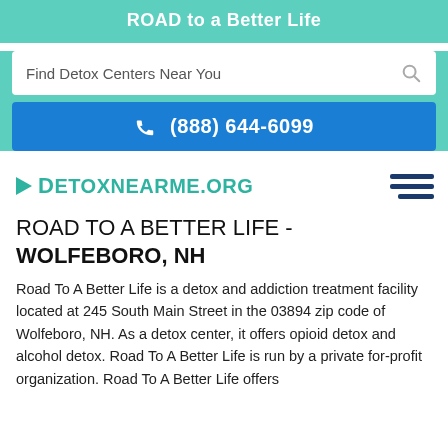ROAD to a Better Life
Find Detox Centers Near You
(888) 644-6099
[Figure (logo): DetoxNearMe.org logo with teal arrow and hamburger menu icon]
ROAD TO A BETTER LIFE - WOLFEBORO, NH
Road To A Better Life is a detox and addiction treatment facility located at 245 South Main Street in the 03894 zip code of Wolfeboro, NH. As a detox center, it offers opioid detox and alcohol detox. Road To A Better Life is run by a private for-profit organization. Road To A Better Life offers